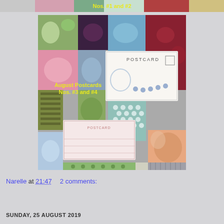[Figure (photo): Top strip showing partial craft/postcard collage image with text 'Nos. #1 and #2' in yellow]
[Figure (photo): Craft collage showing fabric swatches and hand-made postcards with text 'August Postcards Nos. #3 and #4' overlaid in yellow]
Narelle at 21:47    2 comments:
Share
SUNDAY, 25 AUGUST 2019